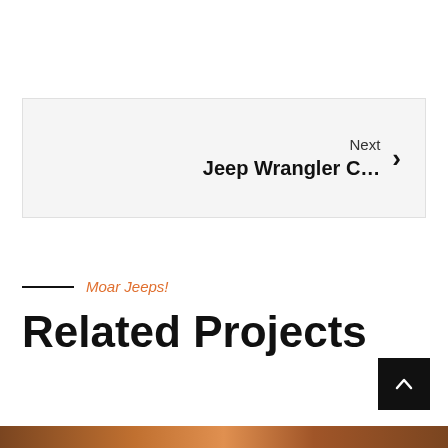Next
Jeep Wrangler C…
Moar Jeeps!
Related Projects
[Figure (other): Back to top arrow button, dark background]
[Figure (photo): Photo strip at bottom of page showing Jeep related images]